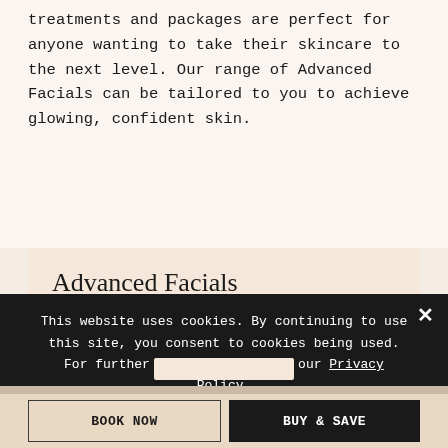treatments and packages are perfect for anyone wanting to take their skincare to the next level. Our range of Advanced Facials can be tailored to you to achieve glowing, confident skin.
Advanced Facials
[Figure (photo): Woman with hair up, wearing dark clothing, looking down, with a circular device visible, photographed against a light blue-grey background]
This website uses cookies. By continuing to use this site, you consent to cookies being used. For further information visit our Privacy Policy.